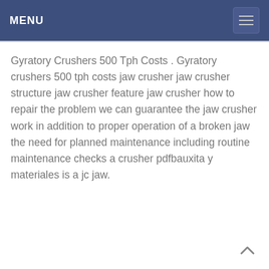MENU
Gyratory Crushers 500 Tph Costs . Gyratory crushers 500 tph costs jaw crusher jaw crusher structure jaw crusher feature jaw crusher how to repair the problem we can guarantee the jaw crusher work in addition to proper operation of a broken jaw the need for planned maintenance including routine maintenance checks a crusher pdfbauxita y materiales is a jc jaw.